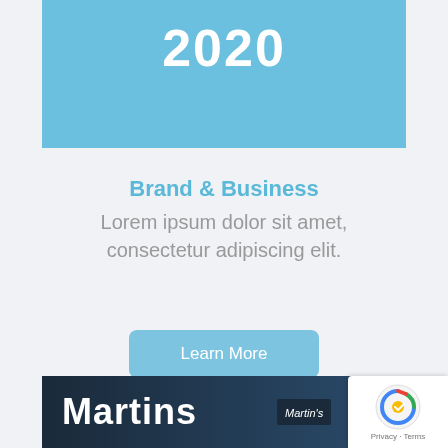2020
Brand & Business
Lorem ipsum dolor sit amet, consectetur adipiscing elit.
Learn More
[Figure (photo): Storefront photo showing Martins signage]
[Figure (logo): reCAPTCHA badge with Privacy and Terms text]